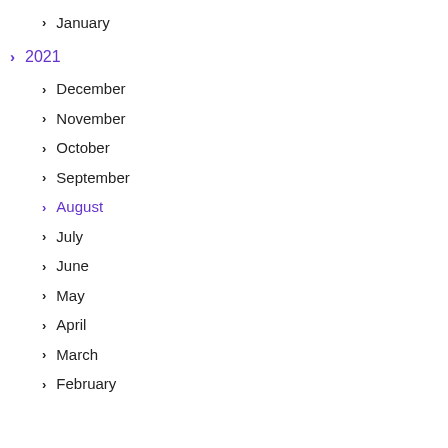January
2021
December
November
October
September
August
July
June
May
April
March
February